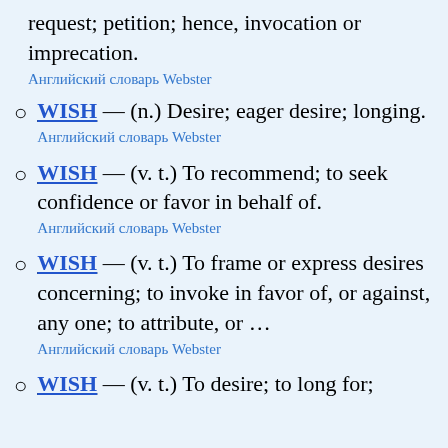request; petition; hence, invocation or imprecation.
Английский словарь Webster
WISH — (n.) Desire; eager desire; longing.
Английский словарь Webster
WISH — (v. t.) To recommend; to seek confidence or favor in behalf of.
Английский словарь Webster
WISH — (v. t.) To frame or express desires concerning; to invoke in favor of, or against, any one; to attribute, or …
Английский словарь Webster
WISH — (v. t.) To desire; to long for;